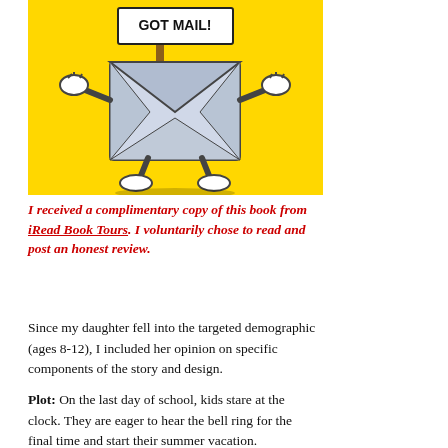[Figure (illustration): Cartoon illustration of an anthropomorphized envelope character on a yellow background holding a sign that says 'GOT MAIL!' The envelope has cartoon arms, legs, and gloved hands, with a smiling face.]
I received a complimentary copy of this book from iRead Book Tours. I voluntarily chose to read and post an honest review.
Since my daughter fell into the targeted demographic (ages 8-12), I included her opinion on specific components of the story and design.
Plot: On the last day of school, kids stare at the clock. They are eager to hear the bell ring for the final time and start their summer vacation.